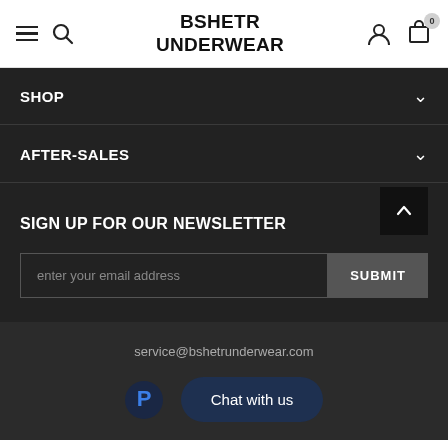BSHETR UNDERWEAR
SHOP
AFTER-SALES
SIGN UP FOR OUR NEWSLETTER
enter your email address
SUBMIT
service@bshetrunderwear.com
Chat with us